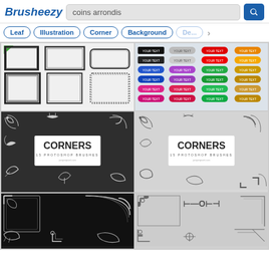Brusheezy — coins arrondis search page
Leaf | Illustration | Corner | Background | De...
[Figure (screenshot): Grid of decorative frame/border brushes on light background]
[Figure (screenshot): Grid of rounded button UI elements in various colors: black, gray, red, orange, blue, green, pink, gold]
[Figure (screenshot): Corners - 15 Photoshop Brushes product image on dark gray background]
[Figure (screenshot): Corners - 15 Photoshop Brushes product image on light gray background]
[Figure (screenshot): Decorative ornamental corners product on black background]
[Figure (screenshot): Art deco style corners/frames product on light gray background]